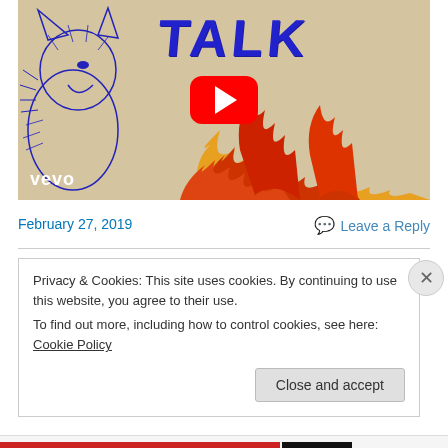[Figure (screenshot): YouTube video thumbnail showing a Vevo music video for 'TALK' with a blue illustrated wolf on the left, large blue handwritten 'TALK' text at top, orange/red flames on the right side against a tan/beige background, and a red YouTube play button in the center.]
February 27, 2019
Leave a Reply
Privacy & Cookies: This site uses cookies. By continuing to use this website, you agree to their use.
To find out more, including how to control cookies, see here: Cookie Policy
Close and accept